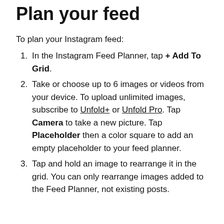Plan your feed
To plan your Instagram feed:
In the Instagram Feed Planner, tap + Add To Grid.
Take or choose up to 6 images or videos from your device. To upload unlimited images, subscribe to Unfold+ or Unfold Pro. Tap Camera to take a new picture. Tap Placeholder then a color square to add an empty placeholder to your feed planner.
Tap and hold an image to rearrange it in the grid. You can only rearrange images added to the Feed Planner, not existing posts.